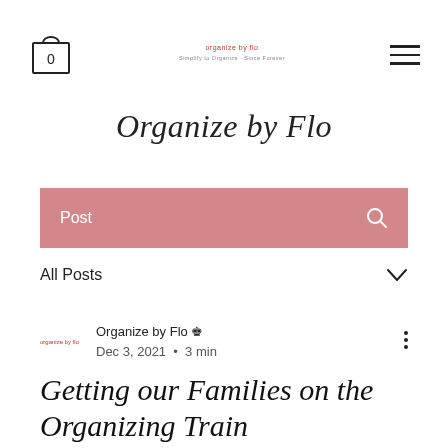[Figure (logo): Shopping bag icon with 0 inside, hamburger menu icon, and small red organize by flo logo in center header]
Organize by Flo
Post
All Posts
Organize by Flo   Dec 3, 2021 · 3 min
Getting our Families on the Organizing Train